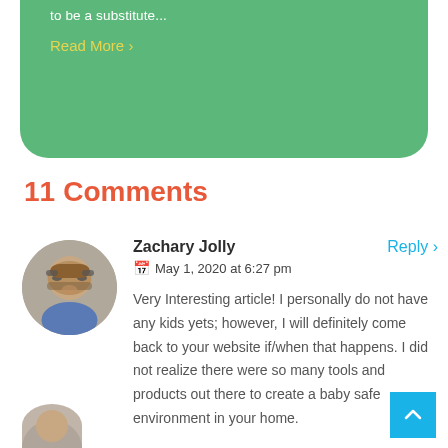to be a substitute...
Read More >
11 Comments
[Figure (photo): Circular avatar photo of Zachary Jolly, a man wearing sunglasses]
Zachary Jolly
Reply >
May 1, 2020 at 6:27 pm
Very Interesting article! I personally do not have any kids yets; however, I will definitely come back to your website if/when that happens. I did not realize there were so many tools and products out there to create a baby safe environment in your home.
[Figure (photo): Partial avatar photo at bottom of page]